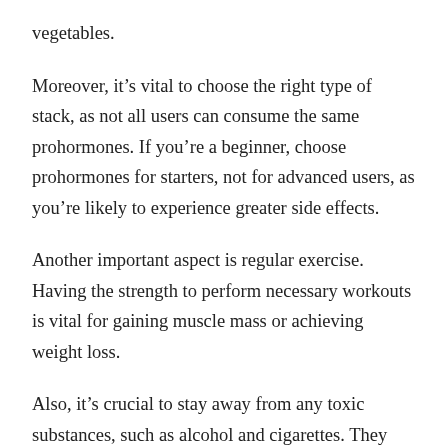vegetables.
Moreover, it’s vital to choose the right type of stack, as not all users can consume the same prohormones. If you’re a beginner, choose prohormones for starters, not for advanced users, as you’re likely to experience greater side effects.
Another important aspect is regular exercise. Having the strength to perform necessary workouts is vital for gaining muscle mass or achieving weight loss.
Also, it’s crucial to stay away from any toxic substances, such as alcohol and cigarettes. They won’t let you experience any of the benefits and will most likely damage your liver. Read more about liver failure.